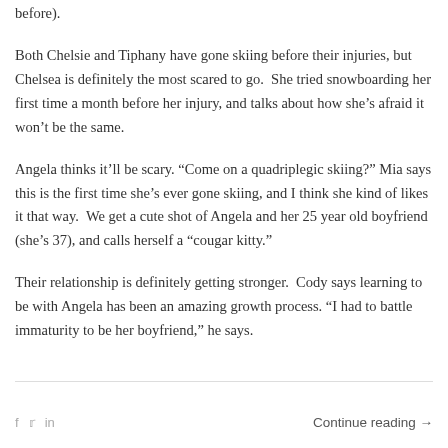before).
Both Chelsie and Tiphany have gone skiing before their injuries, but Chelsea is definitely the most scared to go.  She tried snowboarding her first time a month before her injury, and talks about how she’s afraid it won’t be the same.
Angela thinks it’ll be scary. “Come on a quadriplegic skiing?” Mia says this is the first time she’s ever gone skiing, and I think she kind of likes it that way.  We get a cute shot of Angela and her 25 year old boyfriend (she’s 37), and calls herself a “cougar kitty.”
Their relationship is definitely getting stronger.  Cody says learning to be with Angela has been an amazing growth process. “I had to battle immaturity to be her boyfriend,” he says.
Continue reading →